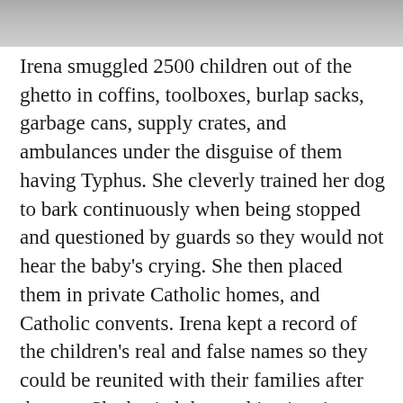[Figure (photo): Black and white photograph strip at top of page, partially visible]
Irena smuggled 2500 children out of the ghetto in coffins, toolboxes, burlap sacks, garbage cans, supply crates, and ambulances under the disguise of them having Typhus. She cleverly trained her dog to bark continuously when being stopped and questioned by guards so they would not hear the baby's crying. She then placed them in private Catholic homes, and Catholic convents. Irena kept a record of the children's real and false names so they could be reunited with their families after the war. She buried that archive in a jar under her apple tree in her yard to keep it and the children safe.
Irena was betrayed by another woman who under torture told the Nazis about her. Irena was then